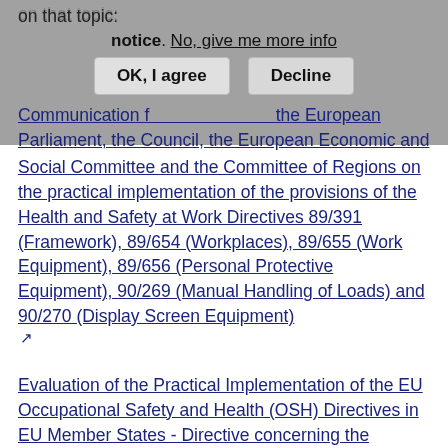on that topic:
notice. No, give me more info
OK, I agree   Decline
Communication f... for the European Parliament, the Council, the European Economic and Social Committee and the Committee of Regions on the practical implementation of the provisions of the Health and Safety at Work Directives 89/391 (Framework), 89/654 (Workplaces), 89/655 (Work Equipment), 89/656 (Personal Protective Equipment), 90/269 (Manual Handling of Loads) and 90/270 (Display Screen Equipment)
Evaluation of the Practical Implementation of the EU Occupational Safety and Health (OSH) Directives in EU Member States - Directive concerning the minimum safety and health requirements for the use of work equipment by workers at work (2017)
See also the guide for examiners of the Senior Labour Inspectors Committee:
Non binding guidance to ensure a minimum standard of competence of persons who carry out examinations of